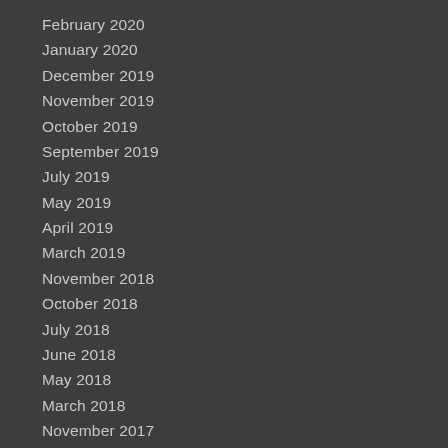February 2020
January 2020
December 2019
November 2019
October 2019
September 2019
July 2019
May 2019
April 2019
March 2019
November 2018
October 2018
July 2018
June 2018
May 2018
March 2018
November 2017
October 2017
September 2017
August 2017